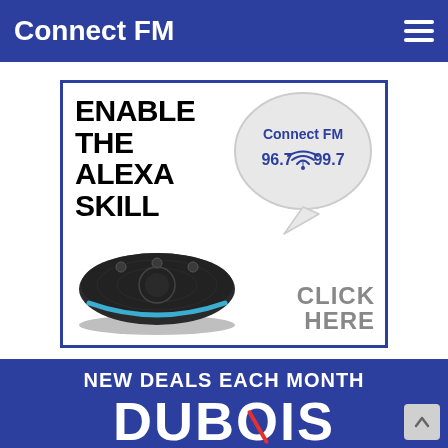Connect FM
[Figure (infographic): Enable The Alexa Skill advertisement with Amazon Echo Dot device, speech bubble showing Connect FM 96.7 and 99.7, and CLICK HERE call to action, all within a blue-bordered box.]
NEW DEALS EACH MONTH
DUBOIS